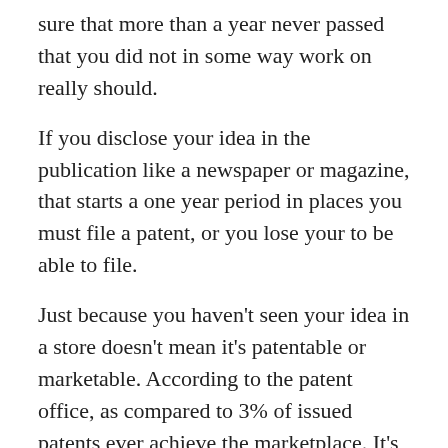sure that more than a year never passed that you did not in some way work on really should.
If you disclose your idea in the publication like a newspaper or magazine, that starts a one year period in places you must file a patent, or you lose your to be able to file.
Just because you haven't seen your idea in a store doesn't mean it's patentable or marketable. According to the patent office, as compared to 3% of issued patents ever achieve the marketplace. It's quite possible your idea was invented but for any number of reasons was never marketed. If an invention has ever existed, anywhere, at any time, created by any person, totally patent it – it's already come to exist! And the U.S. Patent office searches world wide when they process your patent job.
You may ask what is a patent and where does it come